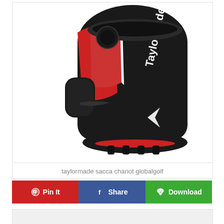[Figure (photo): A TaylorMade golf bag (sacca chariot) in black and red colors with white TaylorMade branding text on the side, shown against a white background.]
taylormade sacca chariot globalgolf
Pin It  Share  Download